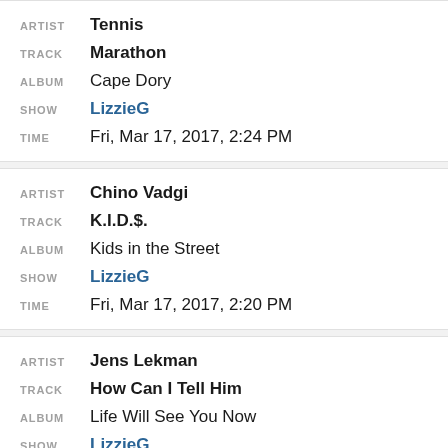| Field | Value |
| --- | --- |
| ARTIST | Tennis |
| TRACK | Marathon |
| ALBUM | Cape Dory |
| SHOW | LizzieG |
| TIME | Fri, Mar 17, 2017, 2:24 PM |
| Field | Value |
| --- | --- |
| ARTIST | Chino Vadgi |
| TRACK | K.I.D.$. |
| ALBUM | Kids in the Street |
| SHOW | LizzieG |
| TIME | Fri, Mar 17, 2017, 2:20 PM |
| Field | Value |
| --- | --- |
| ARTIST | Jens Lekman |
| TRACK | How Can I Tell Him |
| ALBUM | Life Will See You Now |
| SHOW | LizzieG |
| TIME | Fri, Mar 17, 2017, 2:12 PM |